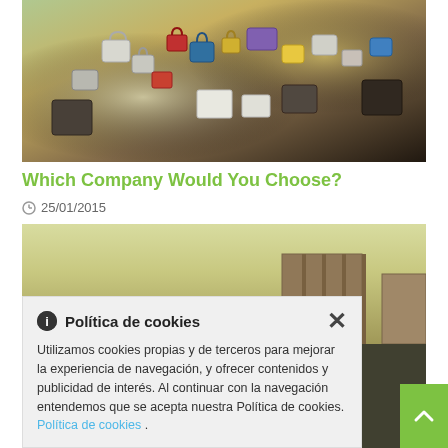[Figure (photo): Close-up photo of many colorful padlocks/love locks clustered together on a railing or fence, with blurred green background]
Which Company Would You Choose?
25/01/2015
[Figure (photo): Sepia/vintage toned photo of an old classic car from the 1940s on a street with buildings in the background]
Política de cookies
Utilizamos cookies propias y de terceros para mejorar la experiencia de navegación, y ofrecer contenidos y publicidad de interés. Al continuar con la navegación entendemos que se acepta nuestra Política de cookies. Política de cookies .